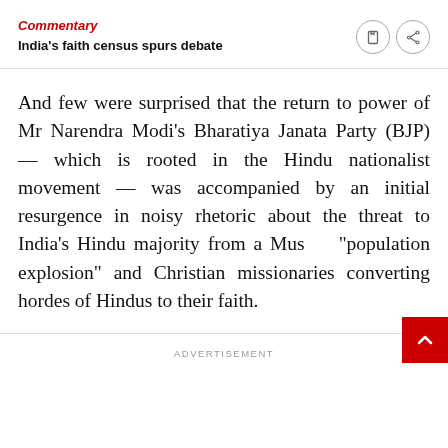Commentary
India’s faith census spurs debate
And few were surprised that the return to power of Mr Narendra Modi’s Bharatiya Janata Party (BJP) — which is rooted in the Hindu nationalist movement — was accompanied by an initial resurgence in noisy rhetoric about the threat to India's Hindu majority from a Muslim “population explosion” and Christian missionaries converting hordes of Hindus to their faith.
ADVERTISEMENT